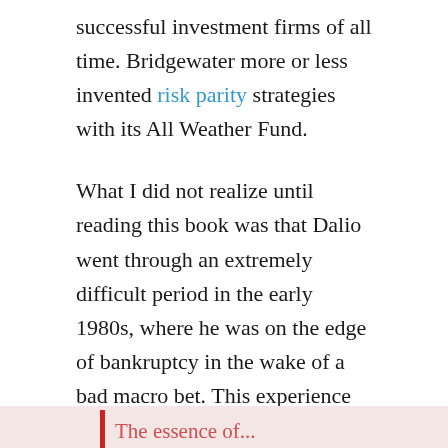successful investment firms of all time. Bridgewater more or less invented risk parity strategies with its All Weather Fund.
What I did not realize until reading this book was that Dalio went through an extremely difficult period in the early 1980s, where he was on the edge of bankruptcy in the wake of a bad macro bet. This experience informed much of his personal development, and it shows in the book.
Summary
The essence of Principles comes through in the following lines: